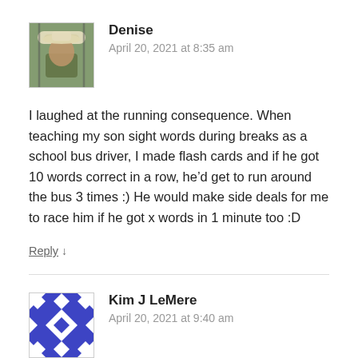[Figure (photo): Avatar photo of Denise, a person wearing a white hat, outdoors]
Denise
April 20, 2021 at 8:35 am
I laughed at the running consequence. When teaching my son sight words during breaks as a school bus driver, I made flash cards and if he got 10 words correct in a row, he'd get to run around the bus 3 times :) He would make side deals for me to race him if he got x words in 1 minute too :D
Reply ↓
[Figure (illustration): Avatar for Kim J LeMere showing a blue and white geometric quilt-like pattern]
Kim J LeMere
April 20, 2021 at 9:40 am